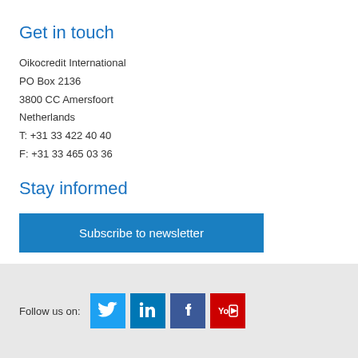Get in touch
Oikocredit International
PO Box 2136
3800 CC Amersfoort
Netherlands
T: +31 33 422 40 40
F: +31 33 465 03 36
Stay informed
Subscribe to newsletter
Follow us on:
[Figure (other): Social media icons: Twitter, LinkedIn, Facebook, YouTube]